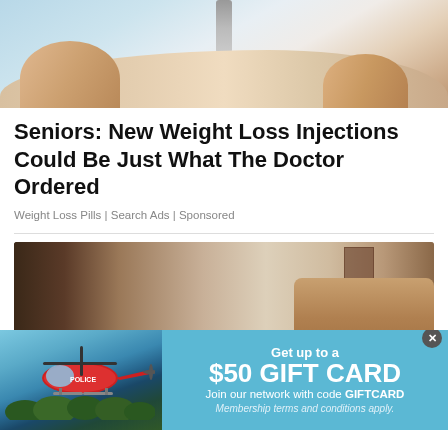[Figure (photo): Close-up photo of a hand holding a syringe/injection pen, with fingers visible against a blurred light blue background]
Seniors: New Weight Loss Injections Could Be Just What The Doctor Ordered
Weight Loss Pills | Search Ads | Sponsored
[Figure (photo): Photo of an elderly couple (woman with blonde hair and glasses, man in dark polo shirt with glasses) sitting together in a bedroom]
[Figure (photo): Advertisement banner showing a helicopter over trees on the left, and a light blue background on the right with text: Get up to a $50 GIFT CARD Join our network with code GIFTCARD Membership terms and conditions apply.]